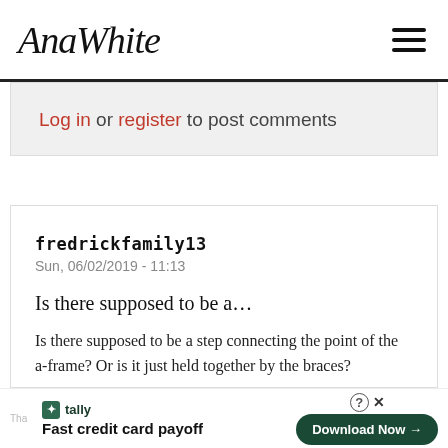AnaWhite
Log in or register to post comments
fredrickfamily13
Sun, 06/02/2019 - 11:13
Is there supposed to be a…
Is there supposed to be a step connecting the point of the a-frame? Or is it just held together by the braces?
Tally – Fast credit card payoff – Download Now